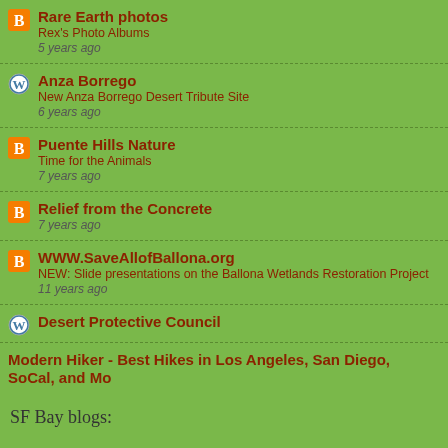Rare Earth photos
Rex's Photo Albums
5 years ago
Anza Borrego
New Anza Borrego Desert Tribute Site
6 years ago
Puente Hills Nature
Time for the Animals
7 years ago
Relief from the Concrete
7 years ago
WWW.SaveAllofBallona.org
NEW: Slide presentations on the Ballona Wetlands Restoration Project
11 years ago
Desert Protective Council
Modern Hiker - Best Hikes in Los Angeles, San Diego, SoCal, and Mo...
SF Bay blogs: